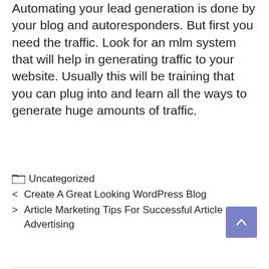Automating your lead generation is done by your blog and autoresponders. But first you need the traffic. Look for an mlm system that will help in generating traffic to your website. Usually this will be training that you can plug into and learn all the ways to generate huge amounts of traffic.
📁 Uncategorized
< Create A Great Looking WordPress Blog
> Article Marketing Tips For Successful Article Advertising